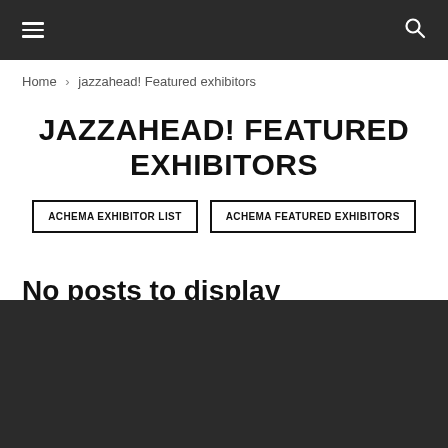≡  🔍
Home › jazzahead! Featured exhibitors
JAZZAHEAD! FEATURED EXHIBITORS
ACHEMA EXHIBITOR LIST
ACHEMA FEATURED EXHIBITORS
No posts to display